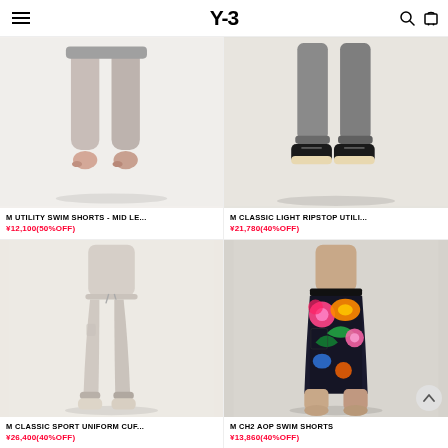Y-3
[Figure (photo): Product photo of M Utility Swim Shorts - Mid Length, showing lower body/legs of model on light background]
M UTILITY SWIM SHORTS - MID LE...
¥12,100(50%OFF)
[Figure (photo): Product photo of M Classic Light Ripstop Utility, showing lower body with black shoes on light background]
M CLASSIC LIGHT RIPSTOP UTILI...
¥21,780(40%OFF)
[Figure (photo): Product photo of M Classic Sport Uniform Cuf..., showing full body in beige jogger pants with white sneakers]
M CLASSIC SPORT UNIFORM CUF...
¥26,400(40%OFF)
[Figure (photo): Product photo of M CH2 AOP Swim Shorts, showing model wearing black colorful tropical print swim shorts]
M CH2 AOP SWIM SHORTS
¥13,860(40%OFF)